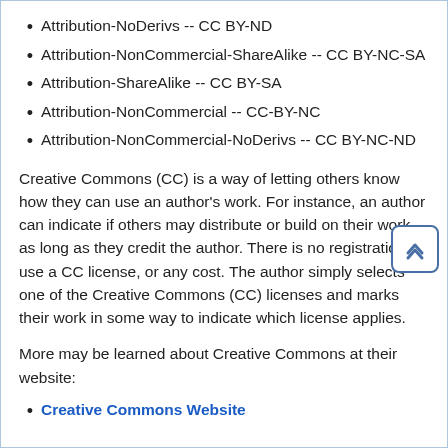Attribution-NoDerivs -- CC BY-ND
Attribution-NonCommercial-ShareAlike -- CC BY-NC-SA
Attribution-ShareAlike -- CC BY-SA
Attribution-NonCommercial -- CC-BY-NC
Attribution-NonCommercial-NoDerivs -- CC BY-NC-ND
Creative Commons (CC) is a way of letting others know how they can use an author’s work. For instance, an author can indicate if others may distribute or build on their work as long as they credit the author. There is no registration to use a CC license, or any cost. The author simply selects one of the Creative Commons (CC) licenses and marks their work in some way to indicate which license applies.
More may be learned about Creative Commons at their website:
Creative Commons Website